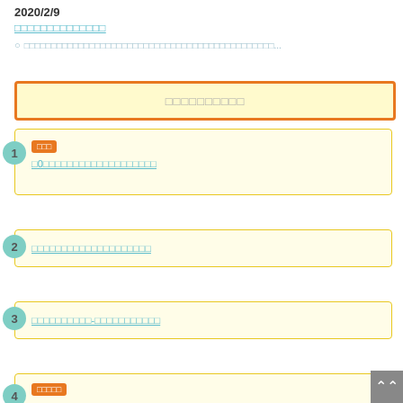2020/2/9
□□□□□□□□□□□□□□
○ □□□□□□□□□□□□□□□□□□□□□□□□□□□□□□□□□□□□□□□□□□□□□□...
□□□□□□□□□□
□□□ □0□□□□□□□□□□□□□□□□□□
□□□□□□□□□□□□□□□□□□□□
□□□□□□□□□□-□□□□□□□□□□□
□□□□□ □□□□□□□□□□□□□□□□□□